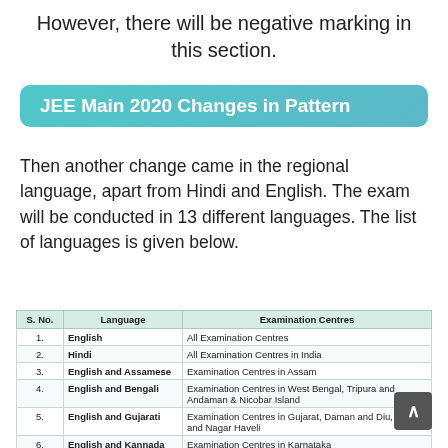However, there will be negative marking in this section.
JEE Main 2020 Changes in Pattern
Then another change came in the regional language, apart from Hindi and English. The exam will be conducted in 13 different languages. The list of languages is given below.
| S. No. | Language | Examination Centres |
| --- | --- | --- |
| 1. | English | All Examination Centres |
| 2. | Hindi | All Examination Centres in India |
| 3. | English and Assamese | Examination Centres in Assam |
| 4. | English and Bengali | Examination Centres in West Bengal, Tripura and Andaman & Nicobar Island |
| 5. | English and Gujarati | Examination Centres in Gujarat, Daman and Diu, Dadra and Nagar Haveli |
| 6. | English and Kannada | Examination Centres in Karnataka |
| 7. | English and Marathi | Examination Centres in Maharashtra |
| 8. | English and Malayalam | Examination Centres in Kerala and Lakshadweep |
| 9. | English and Odia | Examination Centres in Odisha |
| 10. | English and ... | Examination Centres in ... |